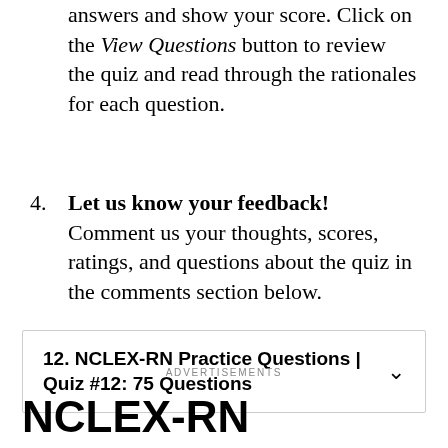answers and show your score. Click on the View Questions button to review the quiz and read through the rationales for each question.
4. Let us know your feedback! Comment us your thoughts, scores, ratings, and questions about the quiz in the comments section below.
12. NCLEX-RN Practice Questions | Quiz #12: 75 Questions
ADVERTISEMENTS
NCLEX-RN Practice